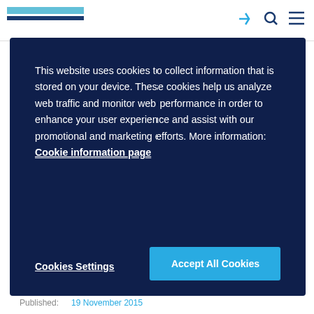[Figure (screenshot): Website navigation bar with logo (horizontal colored bars in blue/teal) and nav icons on the right]
This website uses cookies to collect information that is stored on your device. These cookies help us analyze web traffic and monitor web performance in order to enhance your user experience and assist with our promotional and marketing efforts. More information: Cookie information page
Cookies Settings
Accept All Cookies
at Intersolar India 2015
Published: 19 November 2015